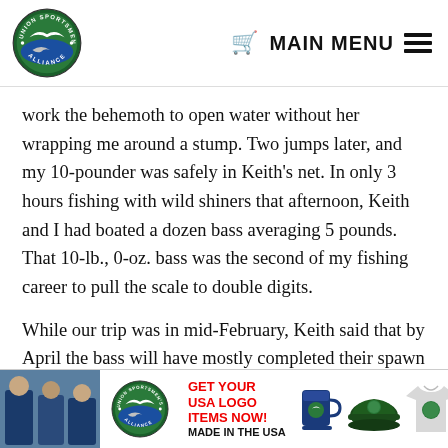Union Sportsmen's Alliance — MAIN MENU
work the behemoth to open water without her wrapping me around a stump. Two jumps later, and my 10-pounder was safely in Keith's net. In only 3 hours fishing with wild shiners that afternoon, Keith and I had boated a dozen bass averaging 5 pounds. That 10-lb., 0-oz. bass was the second of my fishing career to pull the scale to double digits.
While our trip was in mid-February, Keith said that by April the bass will have mostly completed their spawn and will be feeding up before the summer heat. He
[Figure (illustration): Banner advertisement: Union Sportsmen's Alliance — GET YOUR USA LOGO ITEMS NOW! MADE IN THE USA, with images of a mug, cap, and t-shirt]